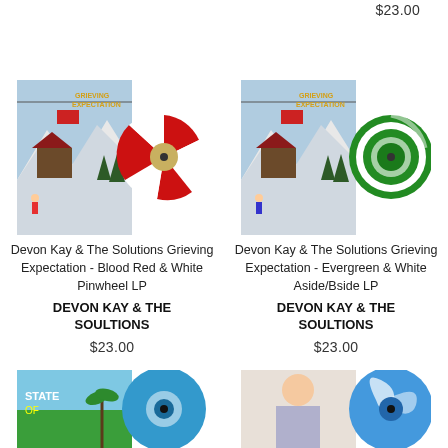$23.00
[Figure (photo): Devon Kay & The Solutions Grieving Expectation album cover with a red and white pinwheel vinyl LP record]
Devon Kay & The Solutions Grieving Expectation - Blood Red & White Pinwheel LP
DEVON KAY & THE SOULTIONS
$23.00
[Figure (photo): Devon Kay & The Solutions Grieving Expectation album cover with an evergreen and white swirl vinyl LP record]
Devon Kay & The Solutions Grieving Expectation - Evergreen & White Aside/Bside LP
DEVON KAY & THE SOULTIONS
$23.00
[Figure (photo): Partial view of album cover with blue vinyl record at bottom left]
[Figure (photo): Partial view of album cover with blue and white swirl vinyl record at bottom right]